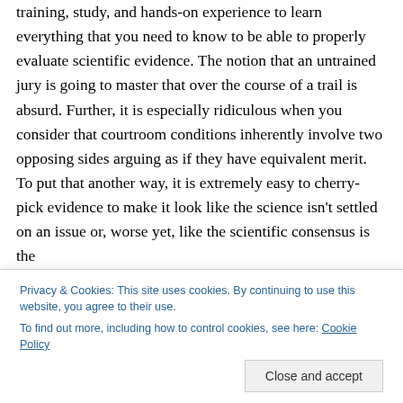training, study, and hands-on experience to learn everything that you need to know to be able to properly evaluate scientific evidence. The notion that an untrained jury is going to master that over the course of a trail is absurd. Further, it is especially ridiculous when you consider that courtroom conditions inherently involve two opposing sides arguing as if they have equivalent merit. To put that another way, it is extremely easy to cherry-pick evidence to make it look like the science isn't settled on an issue or, worse yet, like the scientific consensus is the
Privacy & Cookies: This site uses cookies. By continuing to use this website, you agree to their use.
To find out more, including how to control cookies, see here: Cookie Policy
Let me try an example. Imagine that there is some issue